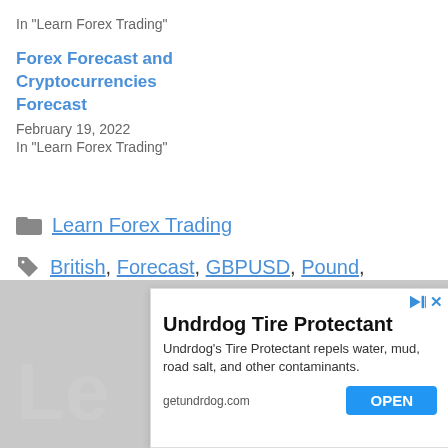In "Learn Forex Trading"
Forex Forecast and Cryptocurrencies Forecast
February 19, 2022
In "Learn Forex Trading"
Learn Forex Trading
British, Forecast, GBPUSD, Pound, Sterling, Unsupported
< Weekly Focus – Fed is accelerating
[Figure (screenshot): Advertisement for Undrdog Tire Protectant. Title: 'Undrdog Tire Protectant'. Body text: 'Undrdog's Tire Protectant repels water, mud, road salt, and other contaminants.' Domain: getundrdog.com. Button: OPEN]